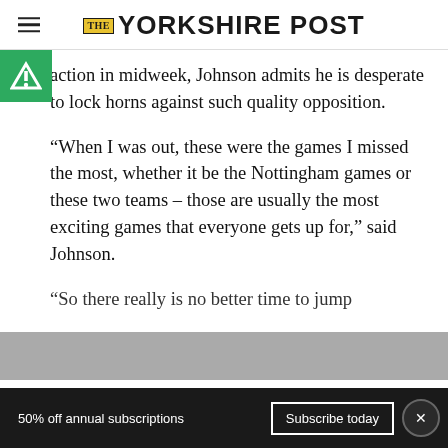THE YORKSHIRE POST
action in midweek, Johnson admits he is desperate to lock horns against such quality opposition.
“When I was out, these were the games I missed the most, whether it be the Nottingham games or these two teams – those are usually the most exciting games that everyone gets up for,” said Johnson.
“So there really is no better time to jump
50% off annual subscriptions   Subscribe today